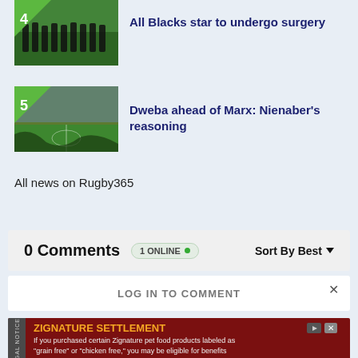[Figure (photo): Thumbnail image item 4: All Blacks players performing haka, crowd in background, green badge with number 4]
All Blacks star to undergo surgery
[Figure (photo): Thumbnail image item 5: Rugby stadium with players on field, green badge with number 5]
Dweba ahead of Marx: Nienaber's reasoning
All news on Rugby365
0 Comments
1 ONLINE
Sort By Best
LOG IN TO COMMENT
ZIGNATURE SETTLEMENT
If you purchased certain Zignature pet food products labeled as "grain free" or "chicken free," you may be eligible for benefits